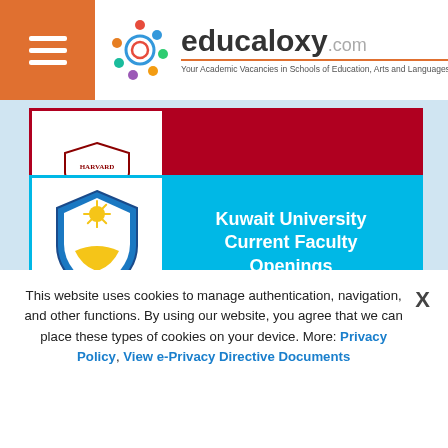educaloxy.com — Your Academic Vacancies in Schools of Education, Arts and Languages
[Figure (logo): Kuwait University crest/shield logo with yellow and blue colors]
Kuwait University Current Faculty Openings
[Figure (logo): Osaka University logo — blue ginkgo leaf symbol]
Osaka University Academic Opportunities
[Figure (logo): Texas Tech University seal — circular red and white seal]
Texas Tech University Faculty Openings
This website uses cookies to manage authentication, navigation, and other functions. By using our website, you agree that we can place these types of cookies on your device. More: Privacy Policy, View e-Privacy Directive Documents